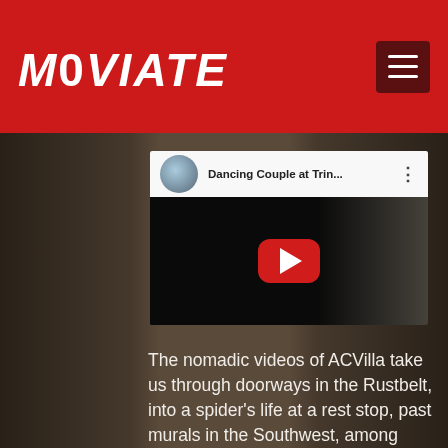MOVIATE
[Figure (screenshot): YouTube video embed showing 'Dancing Couple at Trin...' with YouTube interface bar at top including circular thumbnail, title, and three-dot menu, and dark video area with red YouTube play button in center]
The nomadic videos of ACVilla take us through doorways in the Rustbelt, into a spider's life at a rest stop, past murals in the Southwest, among other visions she's found along her peripatetic life. Thollem provides electric eclectic sonic interpretations with the one of its kind AO 44 made of re-